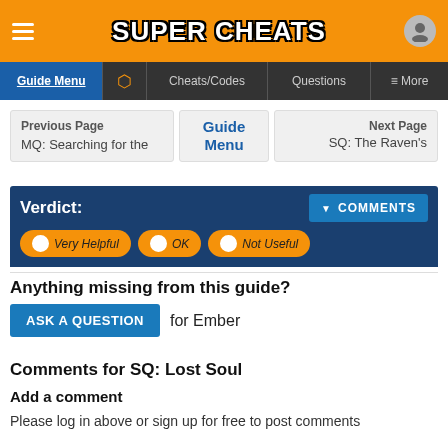SUPER CHEATS
Guide Menu | Cheats/Codes | Questions | More
Previous Page MQ: Searching for the | Guide Menu | Next Page SQ: The Raven's
Verdict: COMMENTS | Very Helpful | OK | Not Useful
Anything missing from this guide?
ASK A QUESTION for Ember
Comments for SQ: Lost Soul
Add a comment
Please log in above or sign up for free to post comments